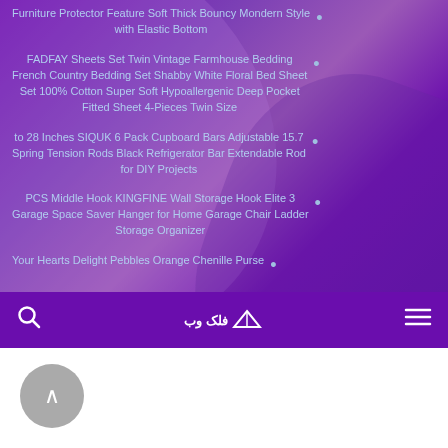Furniture Protector Feature Soft Thick Bouncy Mondern Style with Elastic Bottom
FADFAY Sheets Set Twin Vintage Farmhouse Bedding French Country Bedding Set Shabby White Floral Bed Sheet Set 100% Cotton Super Soft Hypoallergenic Deep Pocket Fitted Sheet 4-Pieces Twin Size
to 28 Inches SIQUK 6 Pack Cupboard Bars Adjustable 15.7 Spring Tension Rods Black Refrigerator Bar Extendable Rod for DIY Projects
PCS Middle Hook KINGFINE Wall Storage Hook Elite 3 Garage Space Saver Hanger for Home Garage Chair Ladder Storage Organizer
Your Hearts Delight Pebbles Orange Chenille Purse
فلک وب [logo] Search | Menu